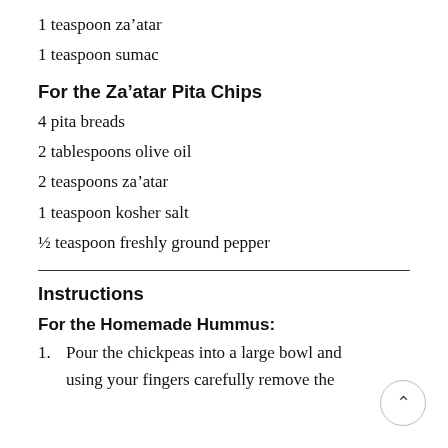1 teaspoon za’atar
1 teaspoon sumac
For the Za’atar Pita Chips
4 pita breads
2 tablespoons olive oil
2 teaspoons za’atar
1 teaspoon kosher salt
½ teaspoon freshly ground pepper
Instructions
For the Homemade Hummus:
1. Pour the chickpeas into a large bowl and using your fingers carefully remove the